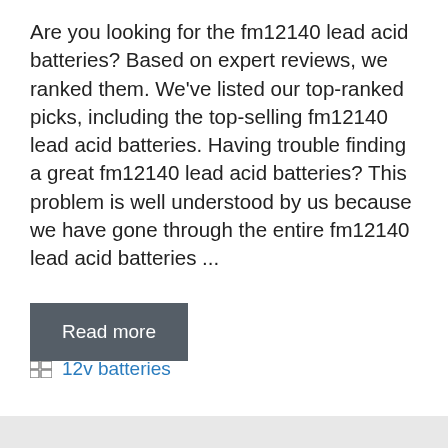Are you looking for the fm12140 lead acid batteries? Based on expert reviews, we ranked them. We've listed our top-ranked picks, including the top-selling fm12140 lead acid batteries. Having trouble finding a great fm12140 lead acid batteries? This problem is well understood by us because we have gone through the entire fm12140 lead acid batteries ...
Read more
12v batteries